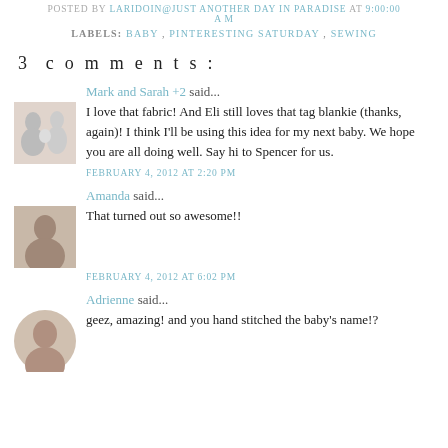POSTED BY LARIDOIN@JUST ANOTHER DAY IN PARADISE AT 9:00:00 AM
LABELS: BABY, PINTERESTING SATURDAY, SEWING
3 comments:
Mark and Sarah +2 said...
I love that fabric! And Eli still loves that tag blankie (thanks, again)! I think I'll be using this idea for my next baby. We hope you are all doing well. Say hi to Spencer for us.
FEBRUARY 4, 2012 AT 2:20 PM
Amanda said...
That turned out so awesome!!
FEBRUARY 4, 2012 AT 6:02 PM
Adrienne said...
geez, amazing! and you hand stitched the baby's name!?